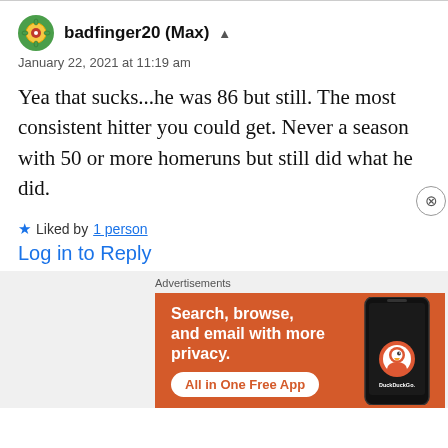badfinger20 (Max) ▲
January 22, 2021 at 11:19 am
Yea that sucks...he was 86 but still. The most consistent hitter you could get. Never a season with 50 or more homeruns but still did what he did.
★ Liked by 1 person
Log in to Reply
Advertisements
[Figure (infographic): DuckDuckGo advertisement banner with orange background showing 'Search, browse, and email with more privacy. All in One Free App' with a phone illustration and DuckDuckGo logo]